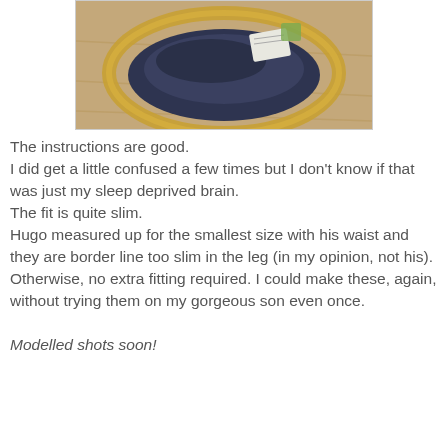[Figure (photo): A wicker basket on a wooden floor containing dark navy fabric/clothing items and what appears to be a white label or card]
The instructions are good.
I did get a little confused a few times but I don't know if that was just my sleep deprived brain.
The fit is quite slim.
Hugo measured up for the smallest size with his waist and they are border line too slim in the leg (in my opinion, not his).
Otherwise, no extra fitting required. I could make these, again, without trying them on my gorgeous son even once.

Modelled shots soon!